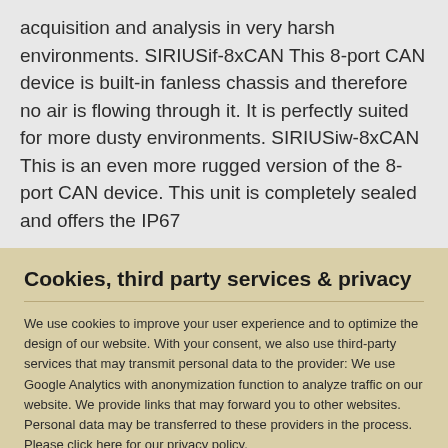acquisition and analysis in very harsh environments. SIRIUSif-8xCAN This 8-port CAN device is built-in fanless chassis and therefore no air is flowing through it. It is perfectly suited for more dusty environments. SIRIUSiw-8xCAN This is an even more rugged version of the 8-port CAN device. This unit is completely sealed and offers the IP67
Cookies, third party services & privacy
We use cookies to improve your user experience and to optimize the design of our website. With your consent, we also use third-party services that may transmit personal data to the provider: We use Google Analytics with anonymization function to analyze traffic on our website. We provide links that may forward you to other websites. Personal data may be transferred to these providers in the process. Please click here for our privacy policy.